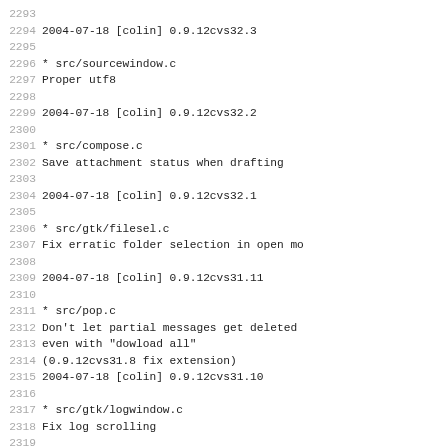2293
2294 2004-07-18 [colin]      0.9.12cvs32.3
2295
2296       * src/sourcewindow.c
2297             Proper utf8
2298
2299 2004-07-18 [colin]      0.9.12cvs32.2
2300
2301       * src/compose.c
2302             Save attachment status when drafting
2303
2304 2004-07-18 [colin]      0.9.12cvs32.1
2305
2306       * src/gtk/filesel.c
2307             Fix erratic folder selection in open mo
2308
2309 2004-07-18 [colin]      0.9.12cvs31.11
2310
2311       * src/pop.c
2312             Don't let partial messages get deleted
2313             even with "dowload all"
2314             (0.9.12cvs31.8 fix extension)
2315 2004-07-18 [colin]      0.9.12cvs31.10
2316
2317       * src/gtk/logwindow.c
2318             Fix log scrolling
2319
2320 2004-07-18 [colin]      0.9.12cvs31.9
2321
2322       * src/common/utils.c
2323             Fix non-utf8 strings coming from comman
2324             and files
2325